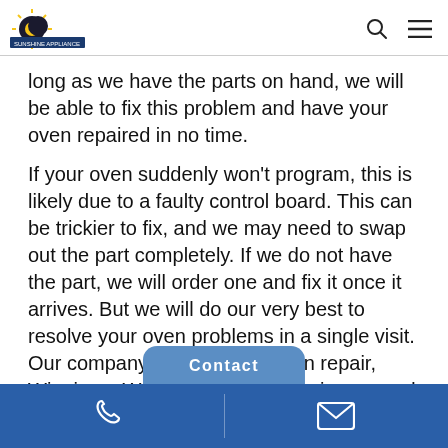[Sunshine Appliances logo] [search icon] [menu icon]
long as we have the parts on hand, we will be able to fix this problem and have your oven repaired in no time.
If your oven suddenly won't program, this is likely due to a faulty control board. This can be trickier to fix, and we may need to swap out the part completely. If we do not have the part, we will order one and fix it once it arrives. But we will do our very best to resolve your oven problems in a single visit. Our company is the best in oven repair, Winnipeg. We can resolve many issues and will try to do it all in one stop so you can get back to cooking again.
Contact [phone icon] [email icon]